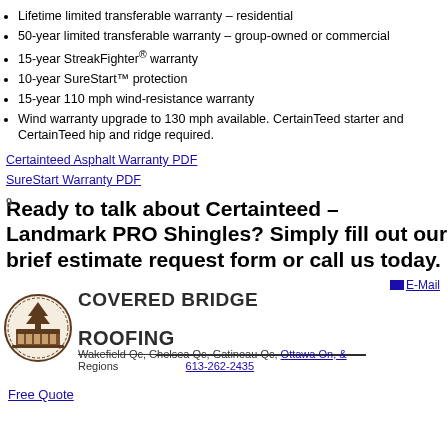Lifetime limited transferable warranty – residential
50-year limited transferable warranty – group-owned or commercial
15-year StreakFighter® warranty
10-year SureStart™ protection
15-year 110 mph wind-resistance warranty
Wind warranty upgrade to 130 mph available. CertainTeed starter and CertainTeed hip and ridge required.
Certainteed Asphalt Warranty PDF
SureStart Warranty PDF
Ready to talk about Certainteed – Landmark PRO Shingles? Simply fill out our brief estimate request form or call us today.
[Figure (logo): Covered Bridge Roofing company logo with circular emblem showing a covered bridge and tree, company name COVERED BRIDGE ROOFING in bold text]
Wakefield Qc, Chelsea Qc, Gatineau Qc, Ottawa On, & Regions
613-262-2435
E-Mail
Free Quote